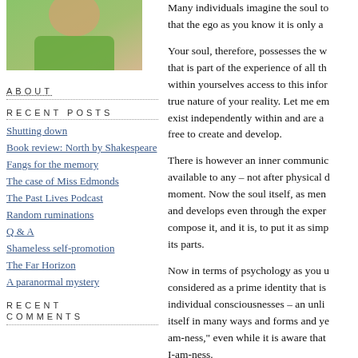[Figure (photo): Partial photo of a person wearing a green shirt, cropped to show chest/shoulder area]
ABOUT
RECENT POSTS
Shutting down
Book review: North by Shakespeare
Fangs for the memory
The case of Miss Edmonds
The Past Lives Podcast
Random ruminations
Q & A
Shameless self-promotion
The Far Horizon
A paranormal mystery
RECENT COMMENTS
Many individuals imagine the soul to... that the ego as you know it is only a...
Your soul, therefore, possesses the w... that is part of the experience of all th... within yourselves access to this infor... true nature of your reality. Let me em... exist independently within and are a... free to create and develop.
There is however an inner communic... available to any – not after physical d... moment. Now the soul itself, as men... and develops even through the exper... compose it, and it is, to put it as simp... its parts.
Now in terms of psychology as you u... considered as a prime identity that is... individual consciousnesses – an unli... itself in many ways and forms and ye... am-ness," even while it is aware that... I-am-ness.
This ties in nicely with my post "The Diamo...